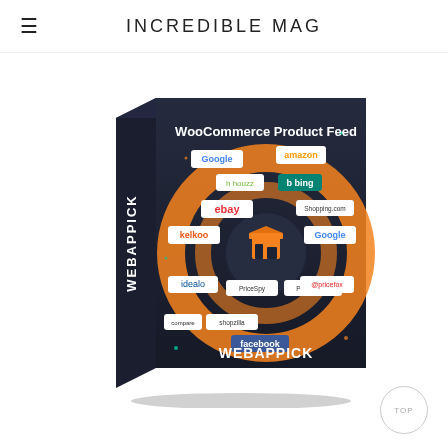INCREDIBLE MAG
[Figure (illustration): Product box for WebAppPick WooCommerce Product Feed plugin. Dark navy blue box showing a circular orange/yellow swirl design with logos of various e-commerce and comparison shopping platforms: Google, Amazon, Houzz, Bing, eBay, Kelkoo, Idealo, Google Shopping, PriceSpy, Pricerunner, Shopzilla, Facebook, and others. Text on box front: 'WooCommerce Product Feed' and 'WEBAPPICK'. Text on box spine: 'WEBAPPICK'.]